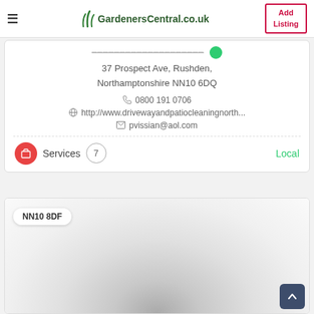GardenersCentral.co.uk | Add Listing
[business name — partially visible/redacted]
37 Prospect Ave, Rushden, Northamptonshire NN10 6DQ
0800 191 0706
http://www.drivewayandpatiocleaningnorth...
pvissian@aol.com
Services  7  Local
[Figure (map): Blurred map area showing postcode NN10 8DF badge]
NN10 8DF